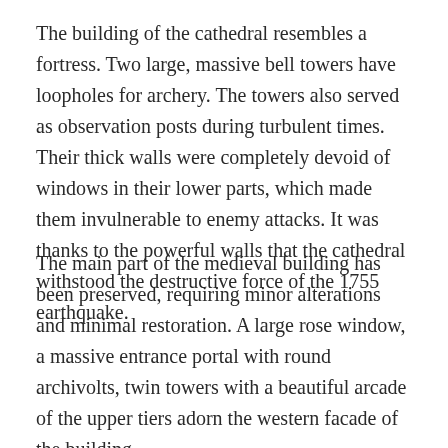The building of the cathedral resembles a fortress. Two large, massive bell towers have loopholes for archery. The towers also served as observation posts during turbulent times. Their thick walls were completely devoid of windows in their lower parts, which made them invulnerable to enemy attacks. It was thanks to the powerful walls that the cathedral withstood the destructive force of the 1755 earthquake.
The main part of the medieval building has been preserved, requiring minor alterations and minimal restoration. A large rose window, a massive entrance portal with round archivolts, twin towers with a beautiful arcade of the upper tiers adorn the western facade of the building.